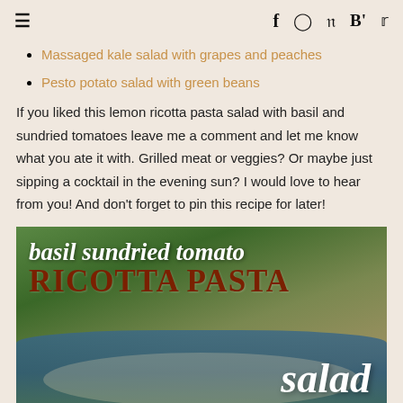≡  f  [instagram]  p  B'  [twitter]
Massaged kale salad with grapes and peaches
Pesto potato salad with green beans
If you liked this lemon ricotta pasta salad with basil and sundried tomatoes leave me a comment and let me know what you ate it with. Grilled meat or veggies? Or maybe just sipping a cocktail in the evening sun? I would love to hear from you! And don't forget to pin this recipe for later!
[Figure (photo): Promotional recipe image with text overlay reading 'basil sundried tomato RICOTTA PASTA salad' over a photo of a pasta salad in a blue bowl with green herbs visible in the background]